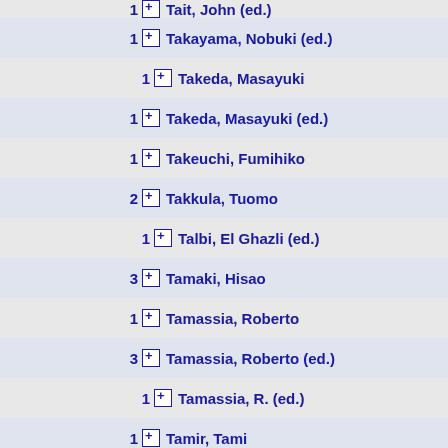1 Tait, John (ed.)
1 Takayama, Nobuki (ed.)
1 Takeda, Masayuki
1 Takeda, Masayuki (ed.)
1 Takeuchi, Fumihiko
2 Takkula, Tuomo
1 Talbi, El Ghazli (ed.)
3 Tamaki, Hisao
1 Tamassia, Roberto
3 Tamassia, Roberto (ed.)
1 Tamassia, R. (ed.)
1 Tamir, Tami
2 Tang, Ching Hoo
1 Taniar, David (ed.)
1 Tan, C. J.Kenneth (ed.)
4 Tardos, Gábor
1 Tarhio, Jorma (ed.)
1 Tarissan, Fabien (ed.)
10 Tarjan, Robert E.
1 Tarlecki, Andrzej (ed.)
1 Tarui, Jun (ed.)
3 Tchervenski, Nickolay